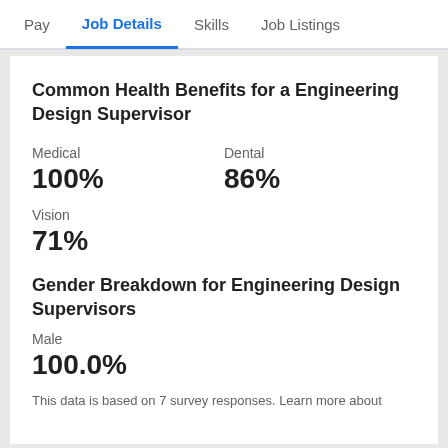Pay | Job Details | Skills | Job Listings
Common Health Benefits for a Engineering Design Supervisor
Medical
100%
Dental
86%
Vision
71%
Gender Breakdown for Engineering Design Supervisors
Male
100.0%
This data is based on 7 survey responses. Learn more about